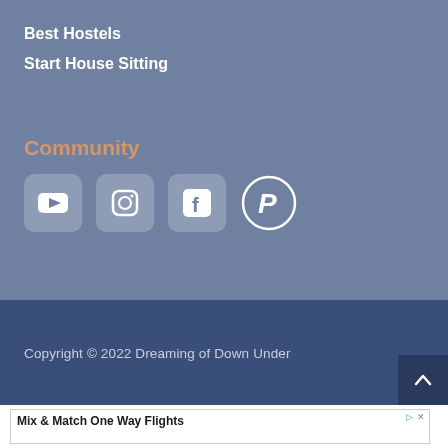Best Hostels
Start House Sitting
Community
[Figure (infographic): Social media icons: YouTube, Instagram, Facebook, Pinterest — white icons on semi-transparent rounded square backgrounds]
Copyright © 2022 Dreaming of Down Under
Mix & Match One Way Flights
Mix & Match Sale Fares from All Available Airlines to Design Your Return Trip with Webjet
Webjet  Open